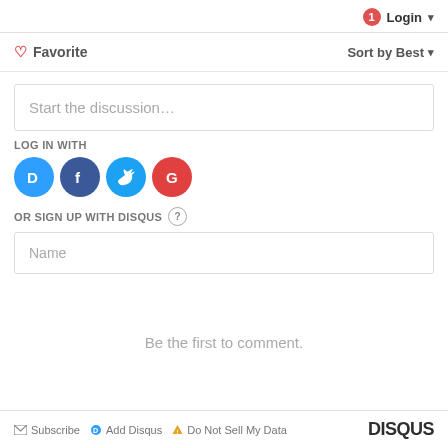1 Login
♡ Favorite   Sort by Best
Start the discussion...
LOG IN WITH
[Figure (illustration): Social login icons: Disqus (blue), Facebook (dark blue), Twitter (light blue), Google (red)]
OR SIGN UP WITH DISQUS ?
Name
Be the first to comment.
Subscribe  Add Disqus  Do Not Sell My Data  DISQUS